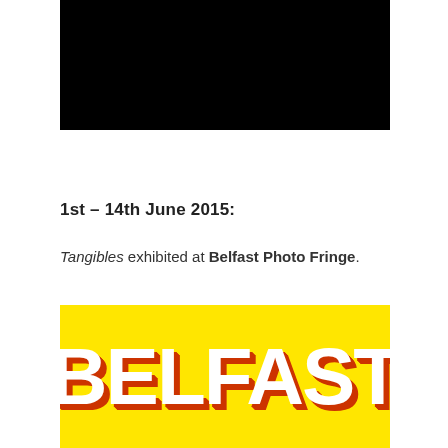[Figure (photo): Black rectangular image at the top of the page]
1st – 14th June 2015:
Tangibles exhibited at Belfast Photo Fringe.
[Figure (logo): Belfast Photo Fringe logo — yellow background with large white bold letters 'BELFAST' with orange shadow/outline effect]